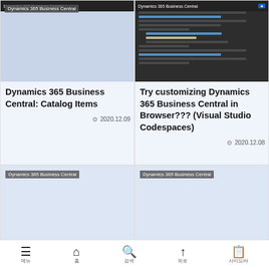[Figure (screenshot): Dynamics 365 Business Central app screenshot with light blue background and tag label]
Dynamics 365 Business Central: Catalog Items
2020.12.09
[Figure (screenshot): Dynamics 365 Business Central code editor screenshot (Visual Studio Codespaces) with dark theme]
Try customizing Dynamics 365 Business Central in Browser??? (Visual Studio Codespaces)
2020.12.08
[Figure (screenshot): Dynamics 365 Business Central app screenshot with light blue background and tag label]
Dynamics 365 Business Central: How to migrate On-Premises Data to
[Figure (screenshot): Dynamics 365 Business Central app screenshot with light blue background and tag label]
Dynamics 365 Business Central: How to capitalize the first letter
메뉴  홈  검색  위로  사이드바